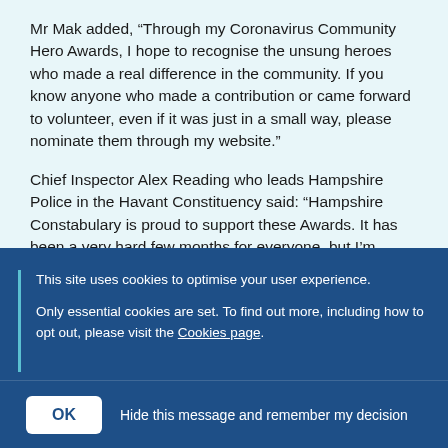Mr Mak added, “Through my Coronavirus Community Hero Awards, I hope to recognise the unsung heroes who made a real difference in the community. If you know anyone who made a contribution or came forward to volunteer, even if it was just in a small way, please nominate them through my website.”
Chief Inspector Alex Reading who leads Hampshire Police in the Havant Constituency said: “Hampshire Constabulary is proud to support these Awards. It has been a very hard few months for everyone, but I’m pleased by the strong adherence to the Coronavirus rules and guidelines in our
This site uses cookies to optimise your user experience.
Only essential cookies are set. To find out more, including how to opt out, please visit the Cookies page.
OK   Hide this message and remember my decision